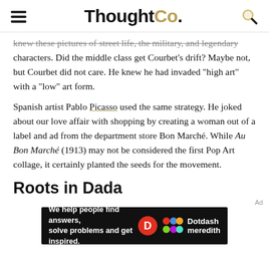ThoughtCo.
knew these pictures of street life, the military, and legendary characters. Did the middle class get Courbet's drift? Maybe not, but Courbet did not care. He knew he had invaded "high art" with a "low" art form.
Spanish artist Pablo Picasso used the same strategy. He joked about our love affair with shopping by creating a woman out of a label and ad from the department store Bon Marché. While Au Bon Marché (1913) may not be considered the first Pop Art collage, it certainly planted the seeds for the movement.
Roots in Dada
[Figure (other): Dotdash Meredith advertisement banner: 'We help people find answers, solve problems and get inspired.' with Dotdash Meredith logo.]